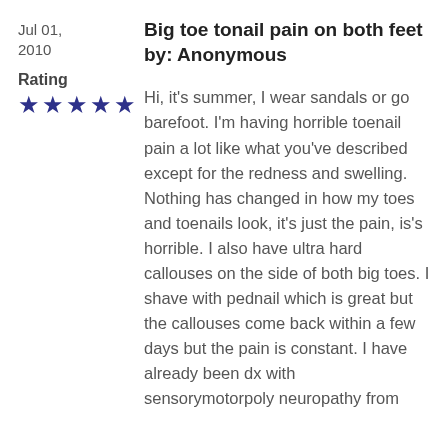Jul 01, 2010
Big toe tonail pain on both feet
by: Anonymous
Rating
★★★★★
Hi, it's summer, I wear sandals or go barefoot. I'm having horrible toenail pain a lot like what you've described except for the redness and swelling. Nothing has changed in how my toes and toenails look, it's just the pain, is's horrible. I also have ultra hard callouses on the side of both big toes. I shave with pednail which is great but the callouses come back within a few days but the pain is constant. I have already been dx with sensorymotorpoly neuropathy from